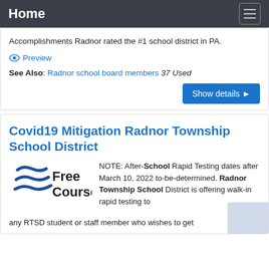Home
Accomplishments Radnor rated the #1 school district in PA.
👁 Preview
See Also: Radnor school board members 37 Used
Show details ▶
Covid19 Mitigation Radnor Township School District
[Figure (logo): Free Courses logo with stylized E letters and text 'Free Courses']
NOTE: After-School Rapid Testing dates after March 10, 2022 to-be-determined. Radnor Township School District is offering walk-in rapid testing to any RTSD student or staff member who wishes to get